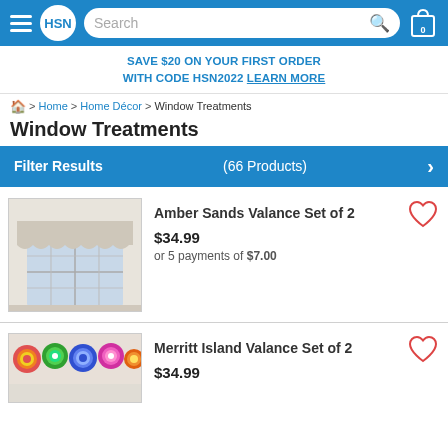HSN header with hamburger menu, search bar, and cart icon
SAVE $20 ON YOUR FIRST ORDER WITH CODE HSN2022 LEARN MORE
Home > Home Décor > Window Treatments
Window Treatments
Filter Results (66 Products)
[Figure (photo): Amber Sands Valance — beige/gray valance with starfish/sea pattern hanging above white window]
Amber Sands Valance Set of 2
$34.99
or 5 payments of $7.00
[Figure (photo): Merritt Island Valance — colorful mandala/floral patterned valance]
Merritt Island Valance Set of 2